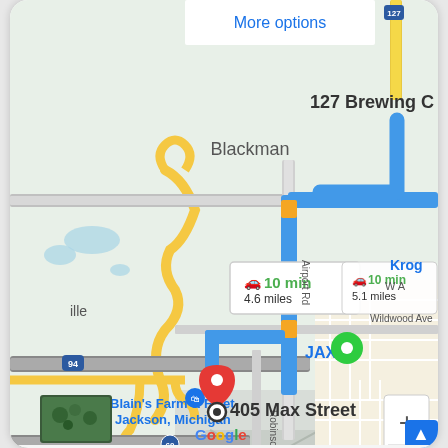[Figure (map): Google Maps screenshot showing driving directions to 405 Max Street, Jackson, Michigan. Route shown in blue with two route options: 10 min / 4.6 miles and 10 min / 5.1 miles. Green destination pin labeled JAX 60, red pin at 405 Max Street. Road labels include County Farm Rd, Airport Rd, Robinson Rd, Wildwood Ave. Area includes Blackman neighborhood, Blain's Farm & Fleet Jackson Michigan, Kroger. Interstate highways 94 and 60 shown. Route passes through orange construction zones.]
Keyboard shortcuts   Map data ©2022   Terms of Use